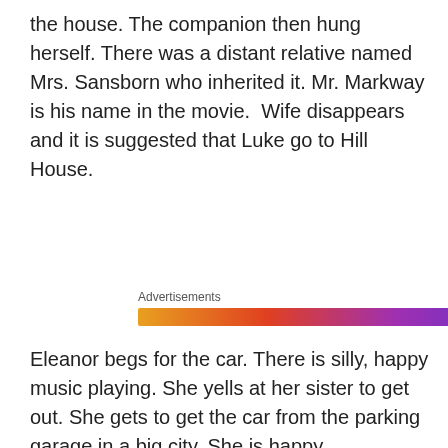the house. The companion then hung herself. There was a distant relative named Mrs. Sansborn who inherited it. Mr. Markway is his name in the movie. Wife disappears and it is suggested that Luke go to Hill House.
[Figure (other): Advertisements banner with colorful gradient bar (orange to purple)]
Eleanor begs for the car. There is silly, happy music playing. She yells at her sister to get out. She gets to get the car from the parking garage in a big city. She is happy
Privacy & Cookies: This site uses cookies. By continuing to use this website, you agree to their use.
To find out more, including how to control cookies, see here: Cookie Policy
Close and accept